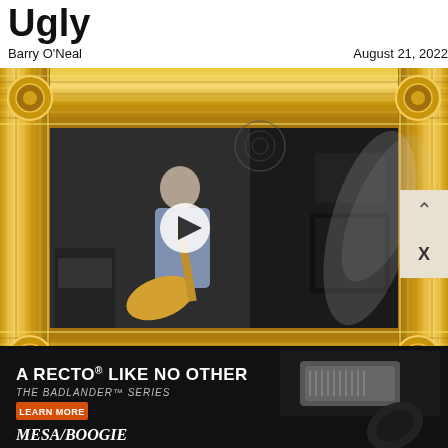Ugly
Barry O'Neal    August 21, 2022
[Figure (photo): Gold ornate picture frame containing a video thumbnail of a man playing electric guitar in a room with amplifiers. A white play button is centered on the dark video frame. A ghostly/smoky artistic effect overlays part of the image.]
[Figure (photo): Mesa/Boogie advertisement banner: 'A RECTO LIKE NO OTHER - THE BADLANDER SERIES' with LEARN MORE button, showing a guitar amplifier head and electric guitar on black background.]